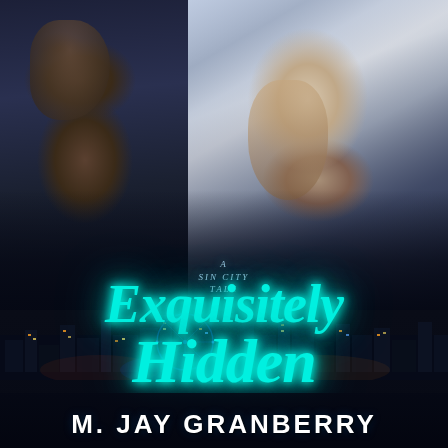[Figure (illustration): Book cover for 'Exquisitely Hidden: A Sin City Tale' by M. Jay Granberry. Dark atmospheric cover showing two male figures in an intimate pose against a dark blue-black background. The left figure is darker-skinned and leans forward with head down and one hand raised to his head. The right figure wears an open white shirt revealing his torso. Below them is a Las Vegas cityscape at night. The title 'Exquisitely Hidden' appears in large glowing cyan/teal neon-style script lettering. Above the main title in smaller italic text reads 'A SIN CITY TALE'. The author name 'M. JAY GRANBERRY' appears at the bottom in large bold white uppercase letters.]